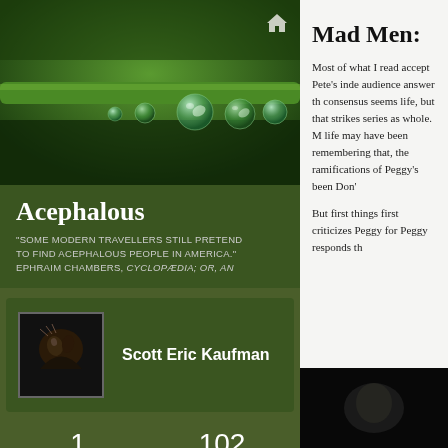[Figure (photo): Close-up photo of green plant stem with water droplets/dew drops hanging from it, dark green bokeh background]
Acephalous
"SOME MODERN TRAVELLERS STILL PRETEND TO FIND ACEPHALOUS PEOPLE IN AMERICA." EPHRAIM CHAMBERS, CYCLOPÆDIA; OR, AN
[Figure (photo): Profile avatar photo of a bird (dark, close-up)]
Scott Eric Kaufman
1
FOLLOWING
102
FOLLOWERS
Mad Men:
Most of what I read accept Pete's inde audience answer th consensus seems life, but that strikes series as whole. M life may have been remembering that, the ramifications of Peggy's been Don'
But first things first criticizes Peggy for Peggy responds th
[Figure (photo): Dark image at the bottom right, partially visible]